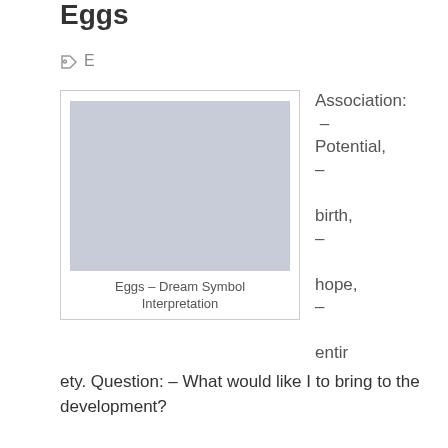Eggs
E
[Figure (photo): Placeholder image for Eggs – Dream Symbol Interpretation]
Eggs – Dream Symbol Interpretation
Association: – Potential, – birth, – hope, – entirety. Question: – What would like I to bring to the development?